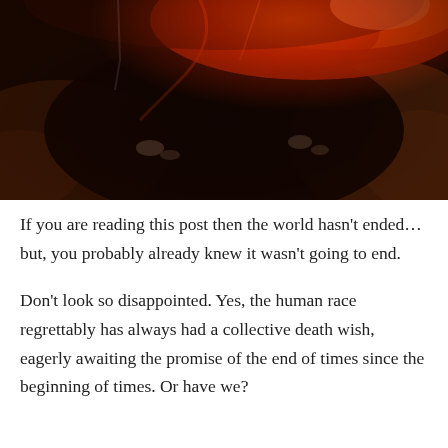[Figure (photo): Aerial or abstract photograph showing dramatic landscape with dark rocky terrain, glowing orange-red lava or fire in the upper portion, and swirling dark and brown earth tones throughout.]
If you are reading this post then the world hasn't ended...but, you probably already knew it wasn't going to end.
Don't look so disappointed. Yes, the human race regrettably has always had a collective death wish, eagerly awaiting the promise of the end of times since the beginning of times. Or have we?